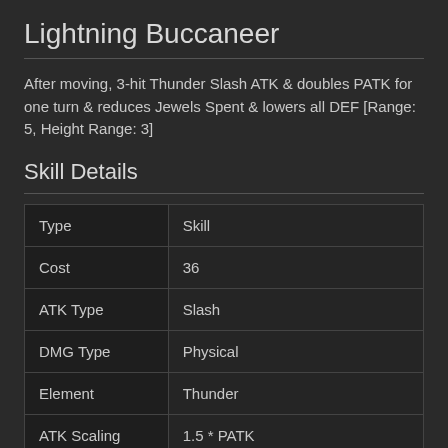Lightning Buccaneer
After moving, 3-hit Thunder Slash ATK & doubles PATK for one turn & reduces Jewels Spent & lowers all DEF [Range: 5, Height Range: 3]
Skill Details
|  |  |
| --- | --- |
| Type | Skill |
| Cost | 36 |
| ATK Type | Slash |
| DMG Type | Physical |
| Element | Thunder |
| ATK Scaling | 1.5 * PATK |
| Effect Type | Attack |
| Effect Scal | Scale |